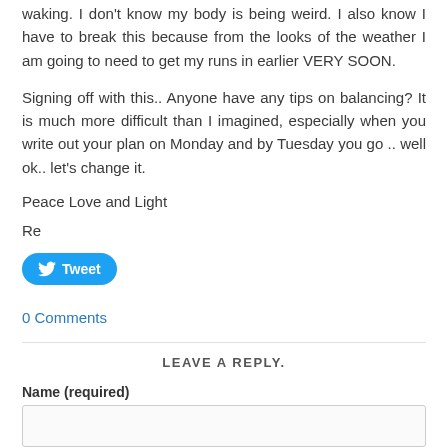waking. I don't know my body is being weird. I also know I have to break this because from the looks of the weather I am going to need to get my runs in earlier VERY SOON.
Signing off with this.. Anyone have any tips on balancing? It is much more difficult than I imagined, especially when you write out your plan on Monday and by Tuesday you go .. well ok.. let's change it.
Peace Love and Light
Re
[Figure (other): Twitter Tweet button]
0 Comments
LEAVE A REPLY.
Name (required)
Email (not published)